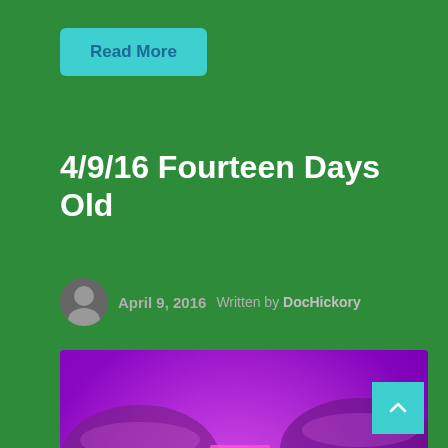Read More
4/9/16 Fourteen Days Old
April 9, 2016   Written by DocHickory
[Figure (photo): A small plant seedling growing in a pot under purple/pink grow lights, surrounded by other covered plant containers in a grow room setting.]